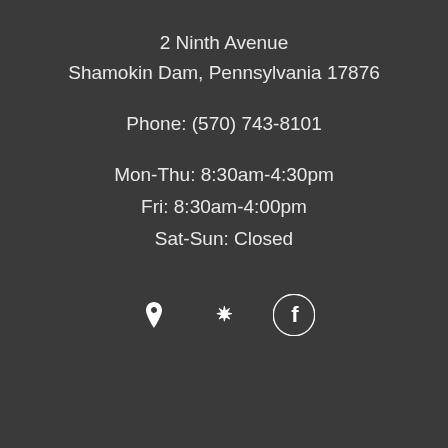2 Ninth Avenue
Shamokin Dam, Pennsylvania 17876
Phone: (570) 743-8101
Mon-Thu: 8:30am-4:30pm
Fri: 8:30am-4:00pm
Sat-Sun: Closed
[Figure (infographic): Three white social/location icons on dark background: map pin (Google Maps/location), Yelp logo, Facebook logo]